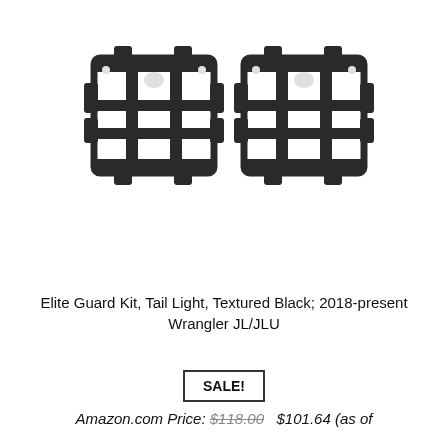[Figure (photo): Two black textured tail light guard brackets/cages for Jeep Wrangler JL/JLU, shown side by side on white background]
Elite Guard Kit, Tail Light, Textured Black; 2018-present Wrangler JL/JLU
SALE!
Amazon.com Price: $118.00  $101.64 (as of